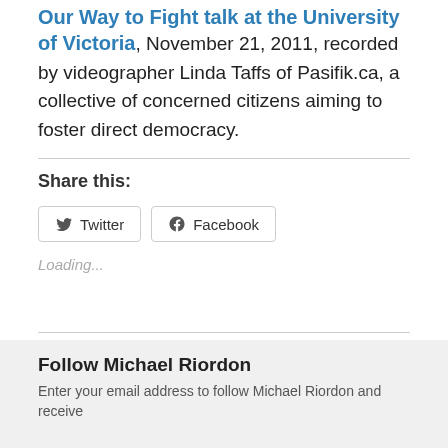Our Way to Fight talk at the University of Victoria, November 21, 2011, recorded by videographer Linda Taffs of Pasifik.ca, a collective of concerned citizens aiming to foster direct democracy.
Share this:
[Figure (other): Twitter and Facebook share buttons]
Loading...
Follow Michael Riordon
Enter your email address to follow Michael Riordon and receive